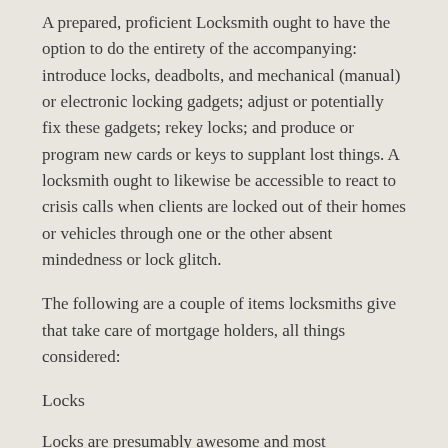A prepared, proficient Locksmith ought to have the option to do the entirety of the accompanying: introduce locks, deadbolts, and mechanical (manual) or electronic locking gadgets; adjust or potentially fix these gadgets; rekey locks; and produce or program new cards or keys to supplant lost things. A locksmith ought to likewise be accessible to react to crisis calls when clients are locked out of their homes or vehicles through one or the other absent mindedness or lock glitch.
The following are a couple of items locksmiths give that take care of mortgage holders, all things considered:
Locks
Locks are presumably awesome and most fundamental security thing to begin with. “Generally fundamental” these days doesn’t, notwithstanding, mean simple for would-be criminals to get around. It essentially implies that they are generally easy to introduce just as financially savvy. A private locksmith can go to your home and evaluate what sort of locks are best for your home. They will consider all places of admittance to your home and its sheds, just as